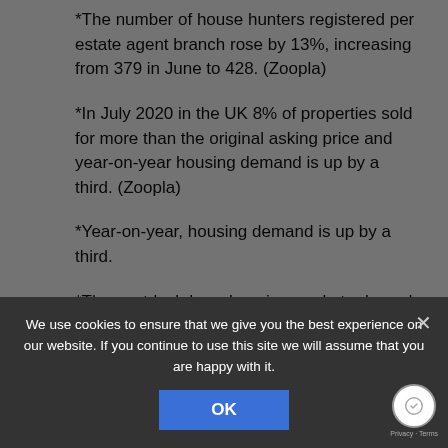*The number of house hunters registered per estate agent branch rose by 13%, increasing from 379 in June to 428. (Zoopla)
*In July 2020 in the UK 8% of properties sold for more than the original asking price and year-on-year housing demand is up by a third. (Zoopla)
*Year-on-year, housing demand is up by a third.
*The post-lockdown housing market rebound shows few signs of slowing despite the UK going into recession, with the number of new sales agreed in August on Zoopla running 76% ahead of the five-year average. (Zoopla)
*buyer appetite in close to 8 of 2020 is from 34% higher than the same eight months in 2019 and, despite summer holidays, it remains unseasonably strong. (Zoopla)
We use cookies to ensure that we give you the best experience on our website. If you continue to use this site we will assume that you are happy with it.